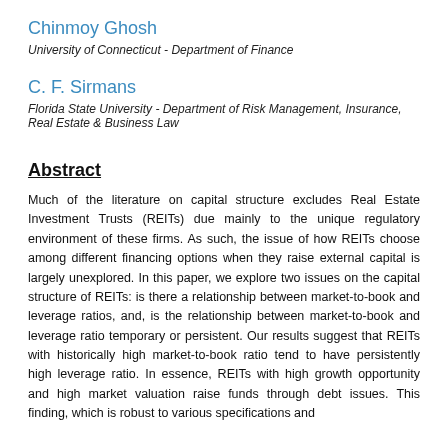Chinmoy Ghosh
University of Connecticut - Department of Finance
C. F. Sirmans
Florida State University - Department of Risk Management, Insurance, Real Estate & Business Law
Abstract
Much of the literature on capital structure excludes Real Estate Investment Trusts (REITs) due mainly to the unique regulatory environment of these firms. As such, the issue of how REITs choose among different financing options when they raise external capital is largely unexplored. In this paper, we explore two issues on the capital structure of REITs: is there a relationship between market-to-book and leverage ratios, and, is the relationship between market-to-book and leverage ratio temporary or persistent. Our results suggest that REITs with historically high market-to-book ratio tend to have persistently high leverage ratio. In essence, REITs with high growth opportunity and high market valuation raise funds through debt issues. This finding, which is robust to various specifications and